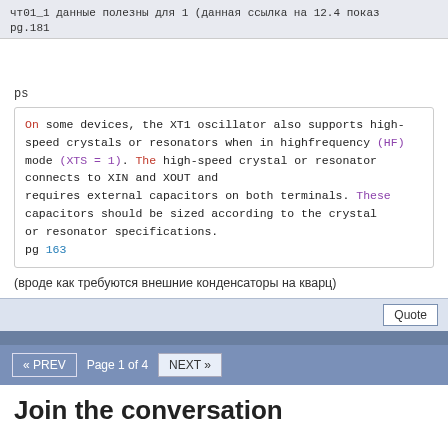чт01_1 данные полезны для 1 (данная ссылка на 12.4 показ pg.181
ps
On some devices, the XT1 oscillator also supports high-speed crystals or resonators when in highfrequency (HF) mode (XTS = 1). The high-speed crystal or resonator connects to XIN and XOUT and requires external capacitors on both terminals. These capacitors should be sized according to the crystal or resonator specifications.
pg 163
(вроде как требуются внешние конденсаторы на кварц)
« PREV  Page 1 of 4  NEXT »
Join the conversation